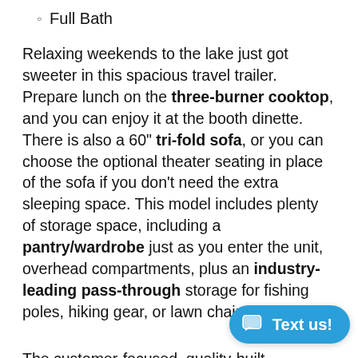Full Bath
Relaxing weekends to the lake just got sweeter in this spacious travel trailer. Prepare lunch on the three-burner cooktop, and you can enjoy it at the booth dinette. There is also a 60" tri-fold sofa, or you can choose the optional theater seating in place of the sofa if you don't need the extra sleeping space. This model includes plenty of storage space, including a pantry/wardrobe just as you enter the unit, overhead compartments, plus an industry-leading pass-through storage for fishing poles, hiking gear, or lawn chairs!
The customer-focused, quality-built Transcend Xplor travel trailers by Grand Design are your ticket to fun and adventure. Each model has been built to last through the seasons thanks to